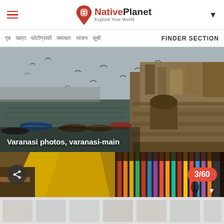NativePlanet — Explore Your World (navigation header with hamburger menu, logo, and dropdown)
Nav items in Hindi script + FINDER SECTION
[Figure (photo): Wide-angle photo of Varanasi Ghats on the Ganges river with boats in water, birds in flight, and ancient stone steps and buildings on the right bank]
Varanasi photos, varanasi-main
[Figure (photo): Gallery strip showing a colorful market scene in Varanasi with yellow fabric/saris and textile shops, counter badge showing 3/60]
3/60